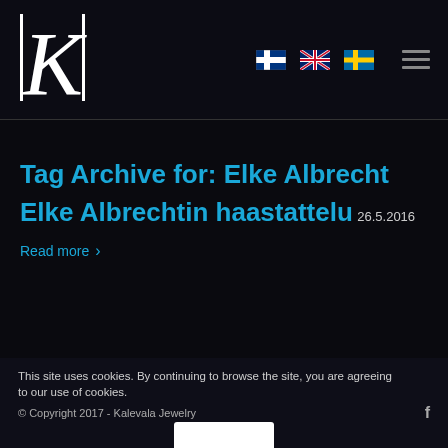Kalevala Jewelry site header with logo K, Finnish flag, UK flag, Swedish flag, hamburger menu
Tag Archive for: Elke Albrecht
Elke Albrechtin haastattelu
26.5.2016
Read more >
This site uses cookies. By continuing to browse the site, you are agreeing to our use of cookies.
© Copyright 2017 - Kalevala Jewelry